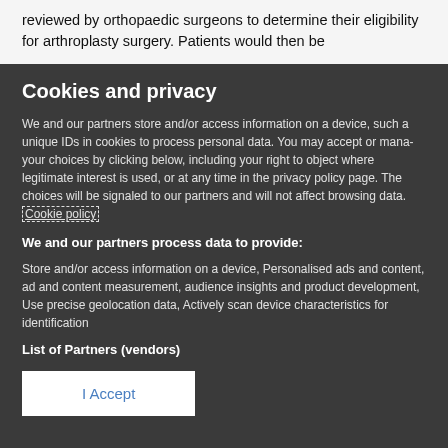reviewed by orthopaedic surgeons to determine their eligibility for arthroplasty surgery. Patients would then be
Cookies and privacy
We and our partners store and/or access information on a device, such as unique IDs in cookies to process personal data. You may accept or manage your choices by clicking below, including your right to object where legitimate interest is used, or at any time in the privacy policy page. These choices will be signaled to our partners and will not affect browsing data. Cookie policy
We and our partners process data to provide:
Store and/or access information on a device, Personalised ads and content, ad and content measurement, audience insights and product development, Use precise geolocation data, Actively scan device characteristics for identification
List of Partners (vendors)
I Accept